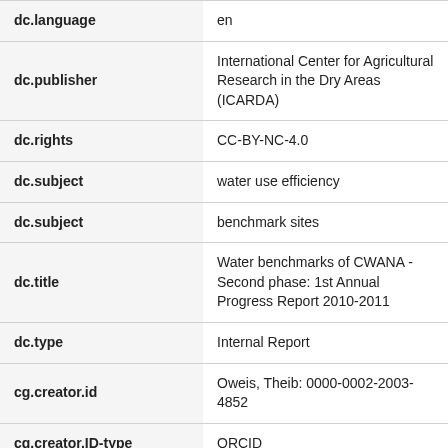| Field | Value |
| --- | --- |
| dc.language | en |
| dc.publisher | International Center for Agricultural Research in the Dry Areas (ICARDA) |
| dc.rights | CC-BY-NC-4.0 |
| dc.subject | water use efficiency |
| dc.subject | benchmark sites |
| dc.title | Water benchmarks of CWANA - Second phase: 1st Annual Progress Report 2010-2011 |
| dc.type | Internal Report |
| cg.creator.id | Oweis, Theib: 0000-0002-2003-4852 |
| cg.creator.ID-type | ORCID |
| cg.subject.agrovoc | drought |